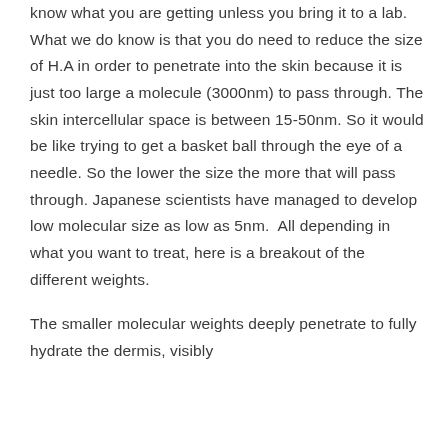know what you are getting unless you bring it to a lab. What we do know is that you do need to reduce the size of H.A in order to penetrate into the skin because it is just too large a molecule (3000nm) to pass through. The skin intercellular space is between 15-50nm. So it would be like trying to get a basket ball through the eye of a needle. So the lower the size the more that will pass through. Japanese scientists have managed to develop low molecular size as low as 5nm.  All depending in what you want to treat, here is a breakout of the different weights.
The smaller molecular weights deeply penetrate to fully hydrate the dermis, visibly